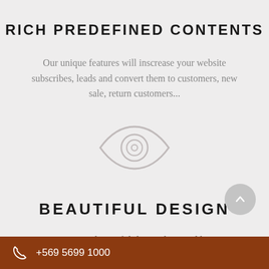RICH PREDEFINED CONTENTS
Our unique features will inscrease your website subscribes, leads and convert them to customers, new sale, return customers...
[Figure (illustration): Eye icon outline in light gray]
BEAUTIFUL DESIGN
Mastery is a beautiful theme designed by our
+569 5699 1000